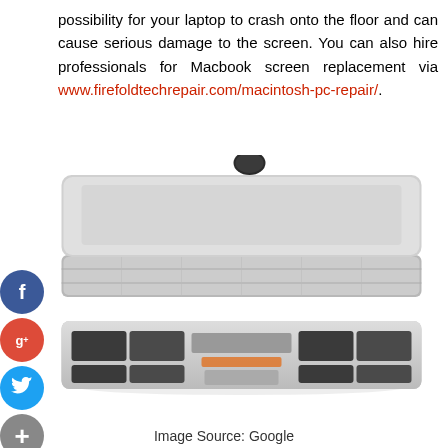possibility for your laptop to crash onto the floor and can cause serious damage to the screen. You can also hire professionals for Macbook screen replacement via www.firefoldtechrepair.com/macintosh-pc-repair/.
[Figure (photo): Exploded view of a MacBook showing separated layers: top lid with Apple logo, middle frame layer, and bottom base with battery and components exposed.]
Image Source: Google